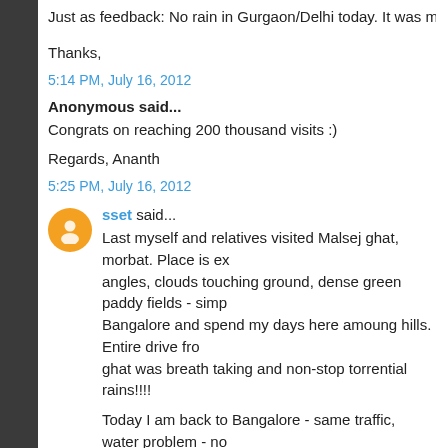Just as feedback: No rain in Gurgaon/Delhi today. It was mostly s
Thanks,
5:14 PM, July 16, 2012
Anonymous said...
Congrats on reaching 200 thousand visits :)
Regards, Ananth
5:25 PM, July 16, 2012
sset said...
Last myself and relatives visited Malsej ghat, morbat. Place is ex angles, clouds touching ground, dense green paddy fields - simp Bangalore and spend my days here amoung hills. Entire drive fro ghat was breath taking and non-stop torrential rains!!!!
Today I am back to Bangalore - same traffic, water problem - no is no rain.
5:28 PM, July 16, 2012
sset said...
Bangalore mirror says - 10mm of rain in 24hours - is too much!!!